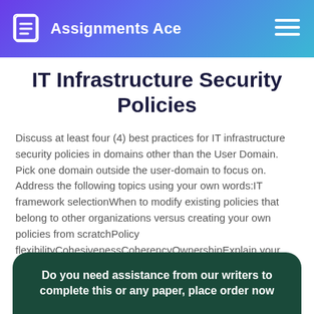Assignments Ace
IT Infrastructure Security Policies
Discuss at least four (4) best practices for IT infrastructure security policies in domains other than the User Domain. Pick one domain outside the user-domain to focus on. Address the following topics using your own words:IT framework selectionWhen to modify existing policies that belong to other organizations versus creating your own policies from scratchPolicy flexibilityCohesivenessCoherencyOwnershipExplain your answers. 350-400 words must.
Do you need assistance from our writers to complete this or any paper, place order now